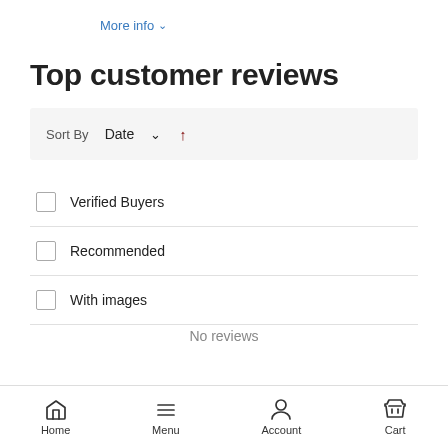More info ∨
Top customer reviews
Sort By  Date ∨ ↑
Verified Buyers
Recommended
With images
No reviews
Home  Menu  Account  Cart